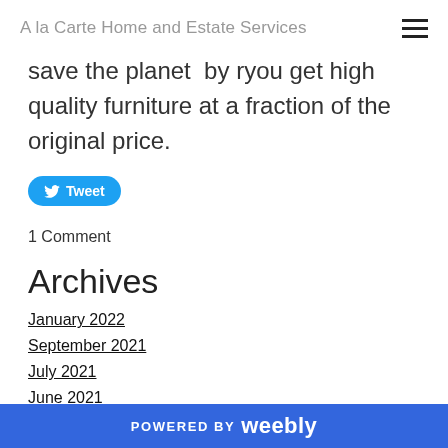A la Carte Home and Estate Services
save the planet  by ryou get high quality furniture at a fraction of the original price.
[Figure (other): Tweet button with Twitter bird icon]
1 Comment
Archives
January 2022
September 2021
July 2021
June 2021
April 2021
POWERED BY weebly